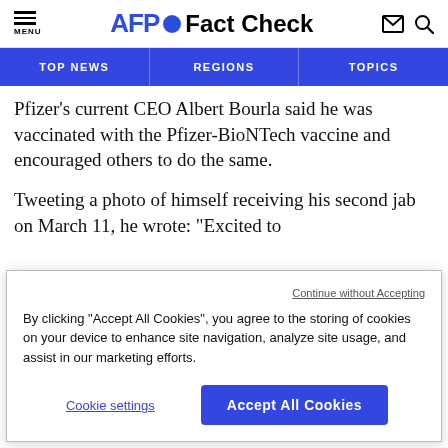AFP Fact Check
TOP NEWS | REGIONS | TOPICS
Pfizer's current CEO Albert Bourla said he was vaccinated with the Pfizer-BioNTech vaccine and encouraged others to do the same.
Tweeting a photo of himself receiving his second jab on March 11, he wrote: "Excited to
Continue without Accepting
By clicking “Accept All Cookies”, you agree to the storing of cookies on your device to enhance site navigation, analyze site usage, and assist in our marketing efforts.
Cookie settings
Accept All Cookies